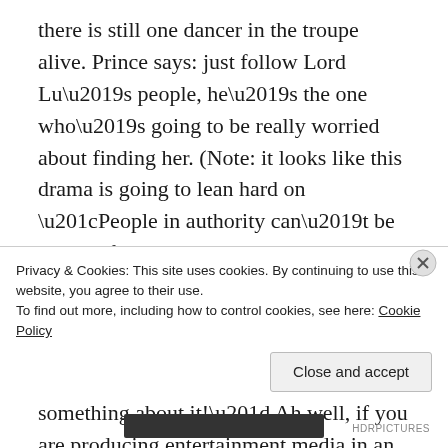there is still one dancer in the troupe alive. Prince says: just follow Lord Lu’s people, he’s the one who’s going to be really worried about finding her. (Note: it looks like this drama is going to lean hard on “People in authority can’t be blamed for troubles! They just don’t know about it! The real culprits are the lower down people in authority! If Comrade Stalin knew about our sufferings he definitely would do something about it!” Ah well, if you are producing entertainment media in an oppressive government regime, you’ve got to toe the party line. I guess. Anyhow, I’m rooting for the villain
Privacy & Cookies: This site uses cookies. By continuing to use this website, you agree to their use.
To find out more, including how to control cookies, see here: Cookie Policy
Close and accept
HDRPICTURES